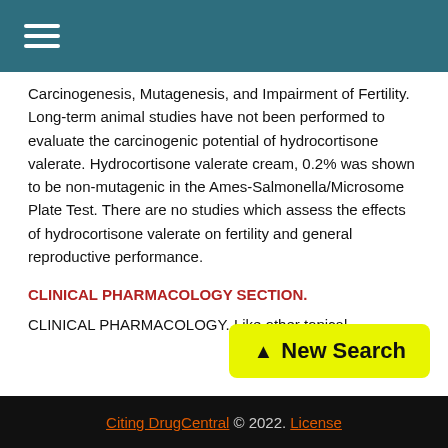≡
Carcinogenesis, Mutagenesis, and Impairment of Fertility. Long-term animal studies have not been performed to evaluate the carcinogenic potential of hydrocortisone valerate. Hydrocortisone valerate cream, 0.2% was shown to be non-mutagenic in the Ames-Salmonella/Microsome Plate Test. There are no studies which assess the effects of hydrocortisone valerate on fertility and general reproductive performance.
CLINICAL PHARMACOLOGY SECTION.
CLINICAL PHARMACOLOGY. Like other topical
[Figure (other): Yellow 'New Search' button with upward arrow icon]
Citing DrugCentral © 2022. License